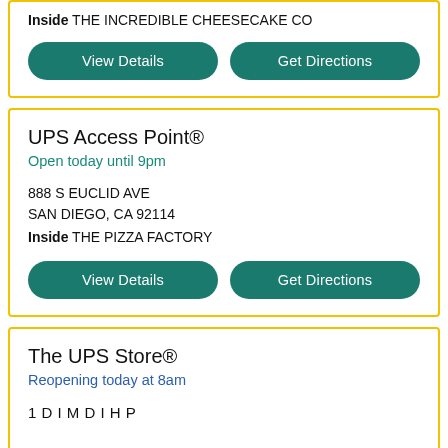Inside THE INCREDIBLE CHEESECAKE CO
View Details
Get Directions
UPS Access Point®
Open today until 9pm
888 S EUCLID AVE
SAN DIEGO, CA 92114
Inside THE PIZZA FACTORY
View Details
Get Directions
The UPS Store®
Reopening today at 8am